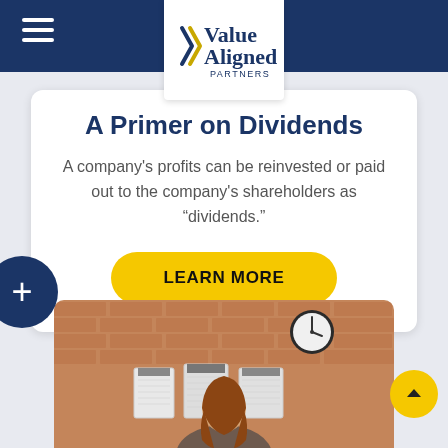Value Aligned Partners
A Primer on Dividends
A company's profits can be reinvested or paid out to the company's shareholders as “dividends.”
LEARN MORE
[Figure (photo): A person with long hair seen from behind, sitting at a desk or workspace with calendars pinned to a brick wall and a round clock on the wall above.]